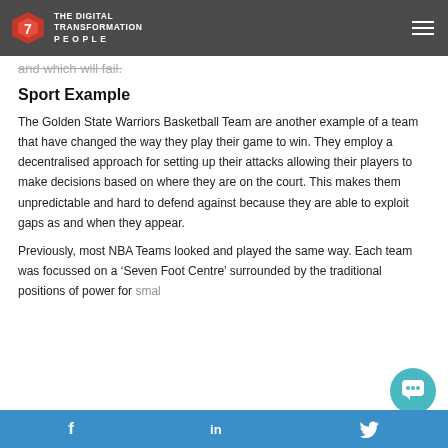THE DIGITAL TRANSFORMATION PEOPLE
and which will fail.
Sport Example
The Golden State Warriors Basketball Team are another example of a team that have changed the way they play their game to win. They employ a decentralised approach for setting up their attacks allowing their players to make decisions based on where they are on the court. This makes them unpredictable and hard to defend against because they are able to exploit gaps as and when they appear.
Previously, most NBA Teams looked and played the same way. Each team was focussed on a ‘Seven Foot Centre’ surrounded by the traditional positions of power for small forward, shooting guard and point guard. The
f  in  Twitter